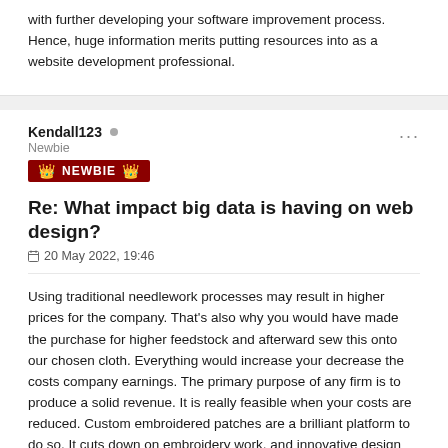with further developing your software improvement process. Hence, huge information merits putting resources into as a website development professional.
Kendall123 • Newbie NEWBIE
Re: What impact big data is having on web design?
20 May 2022, 19:46
Using traditional needlework processes may result in higher prices for the company. That's also why you would have made the purchase for higher feedstock and afterward sew this onto our chosen cloth. Everything would increase your decrease the costs company earnings. The primary purpose of any firm is to produce a solid revenue. It is really feasible when your costs are reduced. Custom embroidered patches are a brilliant platform to do so. It cuts down on embroidery work, and innovative design and stitching methods have rendered cost-cutting even simpler.